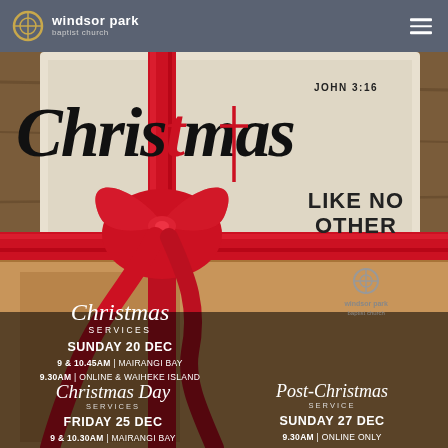windsor park baptist church
[Figure (illustration): Christmas gift box with red ribbon and bow on wooden background, with 'Christmas LIKE NO OTHER JOHN 3:16' text overlay and Windsor Park Baptist Church logo]
Christmas LIKE NO OTHER
JOHN 3:16
Christmas SERVICES
SUNDAY 20 DEC
9 & 10.45AM | MAIRANGI BAY
9.30AM | ONLINE & WAIHEKE ISLAND
Christmas Day SERVICES
FRIDAY 25 DEC
9 & 10.30AM | MAIRANGI BAY
9.30AM | ONLINE
Post-Christmas SERVICE
SUNDAY 27 DEC
9.30AM | ONLINE ONLY